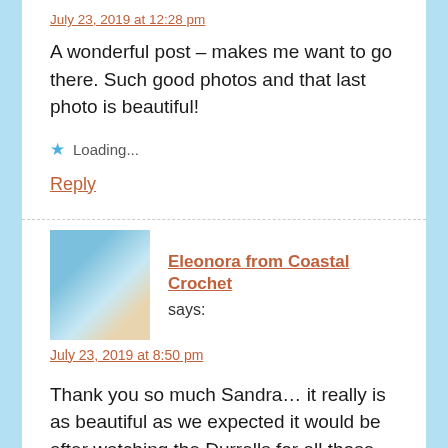July 23, 2019 at 12:28 pm
A wonderful post – makes me want to go there. Such good photos and that last photo is beautiful!
Loading...
Reply
Eleonora from Coastal Crochet says:
July 23, 2019 at 8:50 pm
Thank you so much Sandra… it really is as beautiful as we expected it would be after watching the Durrells for all those years!